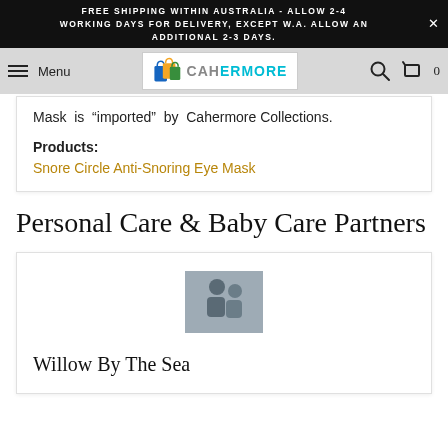FREE SHIPPING WITHIN AUSTRALIA - ALLOW 2-4 WORKING DAYS FOR DELIVERY, EXCEPT W.A. ALLOW AN ADDITIONAL 2-3 DAYS.
Menu | CAHERMORE | 0
Mask is imported by Cahermore Collections.
Products:
Snore Circle Anti-Snoring Eye Mask
Personal Care & Baby Care Partners
[Figure (photo): Small photo of a couple sitting together on a couch]
Willow By The Sea